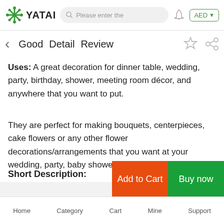YATAI | Please enter the | AED
Good   Detail   Review
Uses: A great decoration for dinner table, wedding, party, birthday, shower, meeting room décor, and anywhere that you want to put.
They are perfect for making bouquets, centerpieces, cake flowers or any other flower decorations/arrangements that you want at your wedding, party, baby shower or home.
Short Description:
Home   Category   Cart   Mine   Support